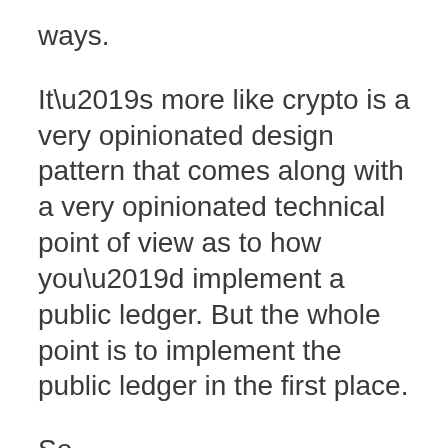ways.
It’s more like crypto is a very opinionated design pattern that comes along with a very opinionated technical point of view as to how you’d implement a public ledger. But the whole point is to implement the public ledger in the first place.
So.
Assuming that in some cases the public ledger is a good idea (which— it might be? If you want